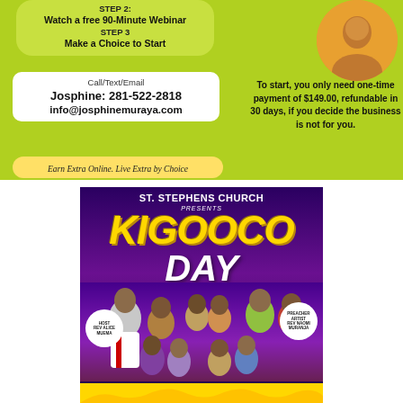[Figure (infographic): Business opportunity advertisement with yellow-green background. Contains steps, contact info, portrait photo of Josphine, and payment details.]
STEP 2:
Watch a free 90-Minute Webinar
STEP 3
Make a Choice to Start
Call/Text/Email
Josphine: 281-522-2818
info@josphinemuraya.com
To start, you only need one-time payment of $149.00, refundable in 30 days, if you decide the business is not for you.
Earn Extra Online. Live Extra by Choice
[Figure (infographic): St. Stephens Church event poster for Kigooco Day with purple gradient background, yellow title text, group photos of people, host and preacher badges.]